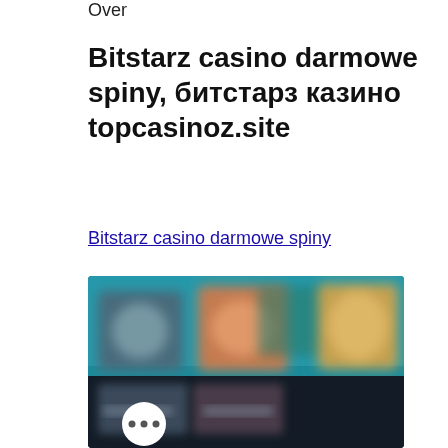Over
Bitstarz casino darmowe spiny, битстарз казино topcasinoz.site
Bitstarz casino darmowe spiny
[Figure (screenshot): Blurred screenshot of Bitstarz casino website showing game thumbnails with a circular button with three dots (…) in the lower left corner.]